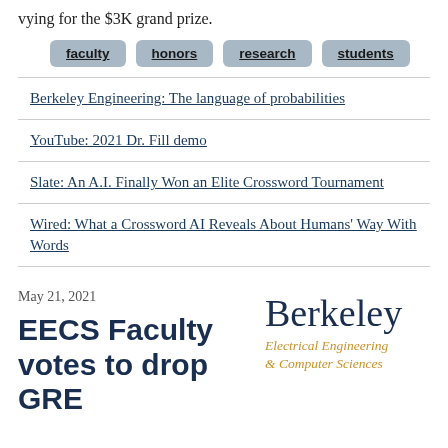vying for the $3K grand prize.
faculty
honors
research
students
Berkeley Engineering: The language of probabilities
YouTube: 2021 Dr. Fill demo
Slate: An A.I. Finally Won an Elite Crossword Tournament
Wired: What a Crossword AI Reveals About Humans' Way With Words
May 21, 2021
EECS Faculty votes to drop GRE
[Figure (logo): Berkeley Electrical Engineering & Computer Sciences logo with 'Berkeley' in dark blue serif font and 'Electrical Engineering & Computer Sciences' in orange italic text below]